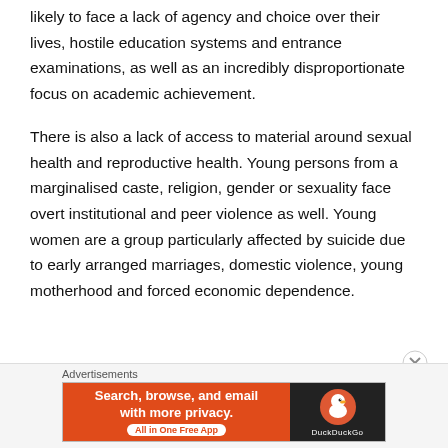likely to face a lack of agency and choice over their lives, hostile education systems and entrance examinations, as well as an incredibly disproportionate focus on academic achievement.
There is also a lack of access to material around sexual health and reproductive health. Young persons from a marginalised caste, religion, gender or sexuality face overt institutional and peer violence as well. Young women are a group particularly affected by suicide due to early arranged marriages, domestic violence, young motherhood and forced economic dependence.
[Figure (other): DuckDuckGo advertisement banner: orange left panel with text 'Search, browse, and email with more privacy. All in One Free App' and dark right panel with DuckDuckGo duck logo and brand name.]